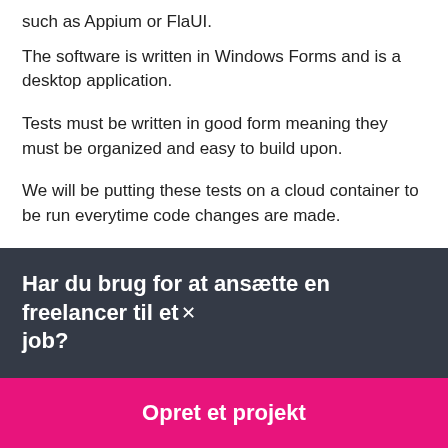such as Appium or FlaUI.
The software is written in Windows Forms and is a desktop application.
Tests must be written in good form meaning they must be organized and easy to build upon.
We will be putting these tests on a cloud container to be run everytime code changes are made.
Evner: Test Automering, Software Testning, Testning / QA,
Har du brug for at ansætte en freelancer til et job?
Opret et projekt